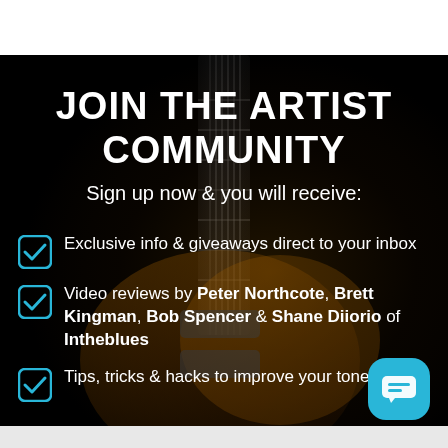JOIN THE ARTIST COMMUNITY
Sign up now & you will receive:
Exclusive info & giveaways direct to your inbox
Video reviews by Peter Northcote, Brett Kingman, Bob Spencer & Shane Diiorio of Intheblues
Tips, tricks & hacks to improve your tone
[Figure (illustration): Chat button icon (light blue rounded square with speech bubble/message icon)]